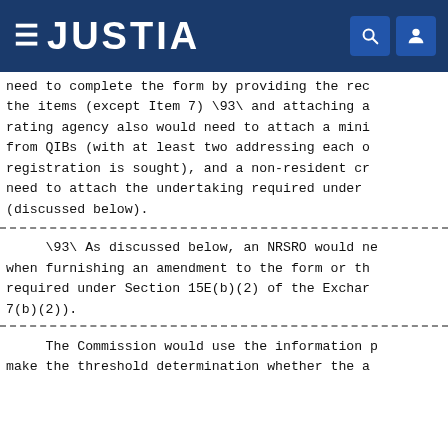JUSTIA
need to complete the form by providing the rec the items (except Item 7) \93\ and attaching a rating agency also would need to attach a mini from QIBs (with at least two addressing each o registration is sought), and a non-resident cr need to attach the undertaking required under (discussed below).
\93\ As discussed below, an NRSRO would ne when furnishing an amendment to the form or th required under Section 15E(b)(2) of the Exchar 7(b)(2)).
The Commission would use the information p make the threshold determination whether the a